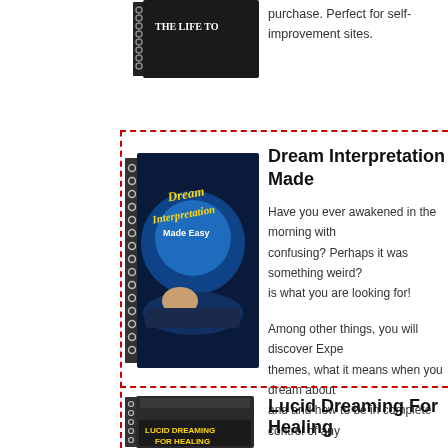purchase. Perfect for self-improvement sites.
[Figure (illustration): Book cover thumbnail at top, partially visible]
[Figure (illustration): Dream Interpretation Made Easy book cover - spiral bound book with blue mystical cover showing a sleeping person]
Dream Interpretation Made
Have you ever awakened in the morning with a dream that was confusing? Perhaps it was something weird? is what you are looking for!
Among other things, you will discover Expert themes, what it means when you dream about and and how to be in complete control of any
[Figure (illustration): Lucid Dreaming For Healing book cover - dark cover with golden text]
Lucid Dreaming For Healing
"Lucid Dreaming for Healing" covers: The L